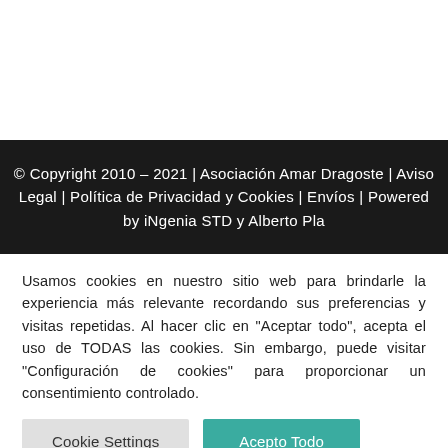© Copyright 2010 – 2021 | Asociación Amar Dragoste | Aviso Legal | Política de Privacidad y Cookies | Envíos | Powered by iNgenia STD y Alberto Pla
Usamos cookies en nuestro sitio web para brindarle la experiencia más relevante recordando sus preferencias y visitas repetidas. Al hacer clic en "Aceptar todo", acepta el uso de TODAS las cookies. Sin embargo, puede visitar "Configuración de cookies" para proporcionar un consentimiento controlado.